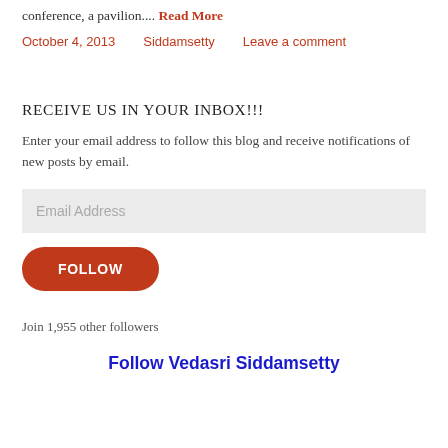conference, a pavilion.... Read More
October 4, 2013   Siddamsetty   Leave a comment
RECEIVE US IN YOUR INBOX!!!
Enter your email address to follow this blog and receive notifications of new posts by email.
Email Address
FOLLOW
Join 1,955 other followers
Follow Vedasri Siddamsetty